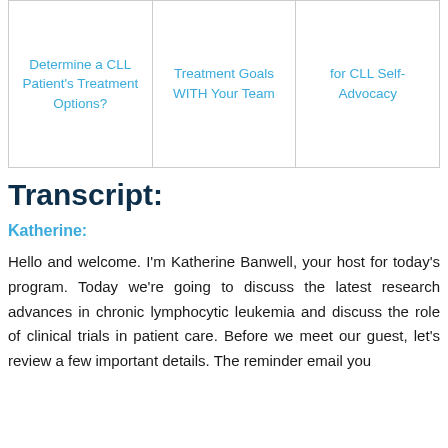| Determine a CLL Patient's Treatment Options? | Treatment Goals WITH Your Team | for CLL Self-Advocacy |
Transcript:
Katherine:
Hello and welcome. I'm Katherine Banwell, your host for today's program. Today we're going to discuss the latest research advances in chronic lymphocytic leukemia and discuss the role of clinical trials in patient care. Before we meet our guest, let's review a few important details. The reminder email you